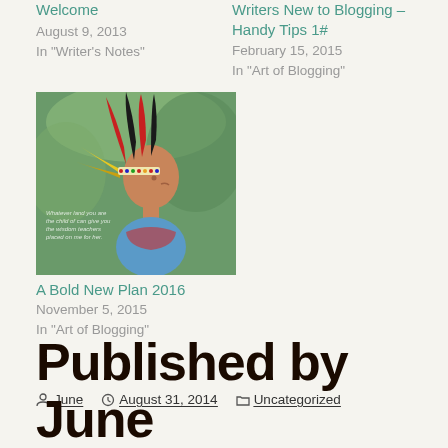Welcome
August 9, 2013
In "Writer's Notes"
Writers New to Blogging – Handy Tips 1#
February 15, 2015
In "Art of Blogging"
[Figure (photo): A person in profile wearing a colorful indigenous headdress with red, yellow, and black feathers and beaded decorations, set against a green background. Overlay text reads: 'Whatever land you are the child of can give you the wisdom teachers placed on me for her.']
A Bold New Plan 2016
November 5, 2015
In "Art of Blogging"
Post by June | August 31, 2014 | Uncategorized
Published by June